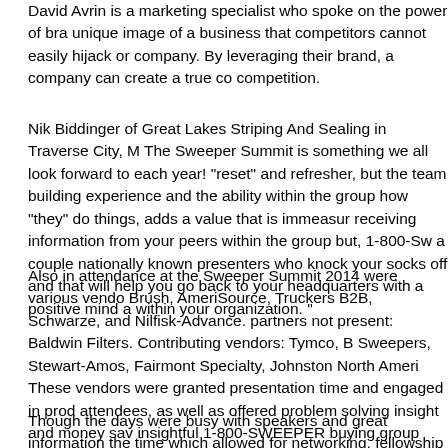David Avrin is a marketing specialist who spoke on the power of bra unique image of a business that competitors cannot easily hijack or company. By leveraging their brand, a company can create a true co competition.
Nik Biddinger of Great Lakes Striping And Sealing in Traverse City, M The Sweeper Summit is something we all look forward to each year! "reset" and refresher, but the team building experience and the abilit within the group how "they" do things, adds a value that is immeasu receiving information from your peers within the group but, 1-800-Sw a couple nationally known presenters who knock your socks off and that will help you go back to your headquarters with a positive mind within your organization. "
Also in attendance at the Sweeper Summit 2014 were various vendo Brush, AmeriSource, Truckers B2B, Schwarze, and Nilfisk-Advance. partners not present: Baldwin Filters. Contributing vendors: Tymco, B Sweepers, Stewart-Amos, Fairmont Specialty, Johnston North Ameri These vendors were granted presentation time and engaged in prod attendees, as well as offered problem solving insight and money sav insightful 1-800-SWEEPER buying group presentation hosted by Gre
Though the days were busy with speakers and great information the time which allowed for networking, fellowship and fun! Most notabl